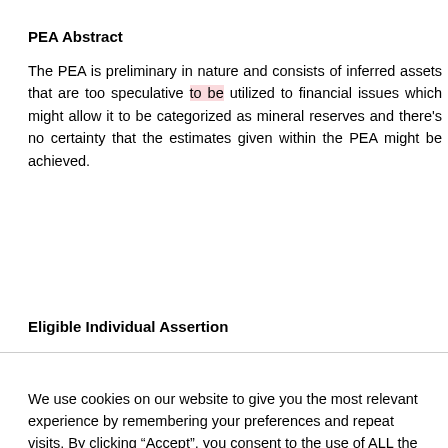PEA Abstract
The PEA is preliminary in nature and consists of inferred assets that are too speculative to be utilized to financial issues which might allow it to be categorized as mineral reserves and there’s no certainty that the estimates given within the PEA might be achieved.
Eligible Individual Assertion
We use cookies on our website to give you the most relevant experience by remembering your preferences and repeat visits. By clicking “Accept”, you consent to the use of ALL the cookies.
Do not sell my personal information.
Cookie Settings   Accept